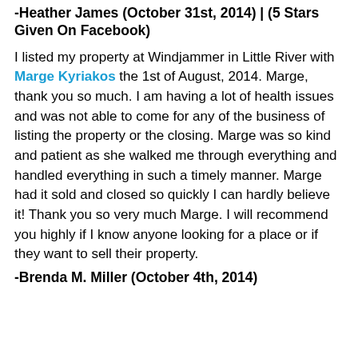-Heather James (October 31st, 2014) | (5 Stars Given On Facebook)
I listed my property at Windjammer in Little River with Marge Kyriakos the 1st of August, 2014. Marge, thank you so much. I am having a lot of health issues and was not able to come for any of the business of listing the property or the closing. Marge was so kind and patient as she walked me through everything and handled everything in such a timely manner. Marge had it sold and closed so quickly I can hardly believe it! Thank you so very much Marge. I will recommend you highly if I know anyone looking for a place or if they want to sell their property.
-Brenda M. Miller (October 4th, 2014)